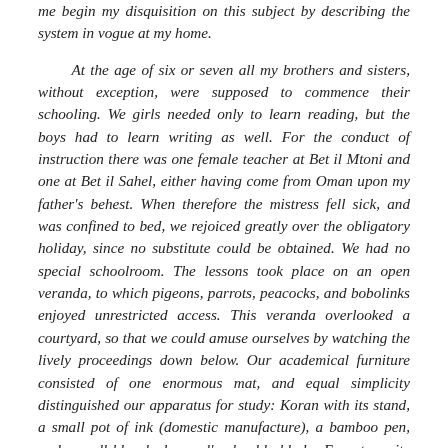me begin my disquisition on this subject by describing the system in vogue at my home.

At the age of six or seven all my brothers and sisters, without exception, were supposed to commence their schooling. We girls needed only to learn reading, but the boys had to learn writing as well. For the conduct of instruction there was one female teacher at Bet il Mtoni and one at Bet il Sahel, either having come from Oman upon my father's behest. When therefore the mistress fell sick, and was confined to bed, we rejoiced greatly over the obligatory holiday, since no substitute could be obtained. We had no special schoolroom. The lessons took place on an open veranda, to which pigeons, parrots, peacocks, and bobolinks enjoyed unrestricted access. This veranda overlooked a courtyard, so that we could amuse ourselves by watching the lively proceedings down below. Our academical furniture consisted of one enormous mat, and equal simplicity distinguished our apparatus for study: Koran with its stand, a small pot of ink (domestic manufacture), a bamboo pen, and a well-bleached camel's shoulderblade. Easy to write upon with ink, this last-named serves as a slate; one's nerves